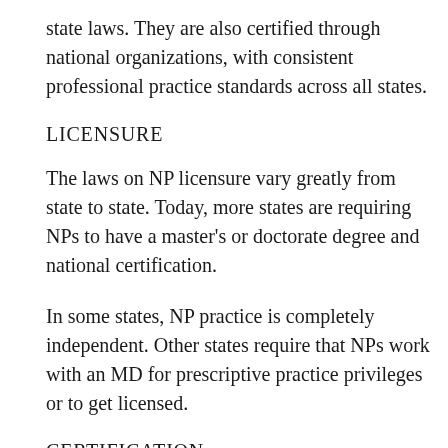state laws. They are also certified through national organizations, with consistent professional practice standards across all states.
LICENSURE
The laws on NP licensure vary greatly from state to state. Today, more states are requiring NPs to have a master's or doctorate degree and national certification.
In some states, NP practice is completely independent. Other states require that NPs work with an MD for prescriptive practice privileges or to get licensed.
CERTIFICATION